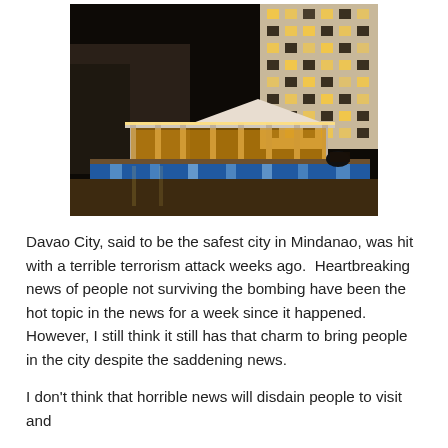[Figure (photo): Nighttime photo of a hotel with a glowing swimming pool in the foreground and a tall multi-story hotel building lit up in the background. The pool area has warm lighting along a covered corridor/bar area.]
Davao City, said to be the safest city in Mindanao, was hit with a terrible terrorism attack weeks ago.  Heartbreaking news of people not surviving the bombing have been the hot topic in the news for a week since it happened.  However, I still think it still has that charm to bring people in the city despite the saddening news.
I don't think that horrible news will disdain people to visit and